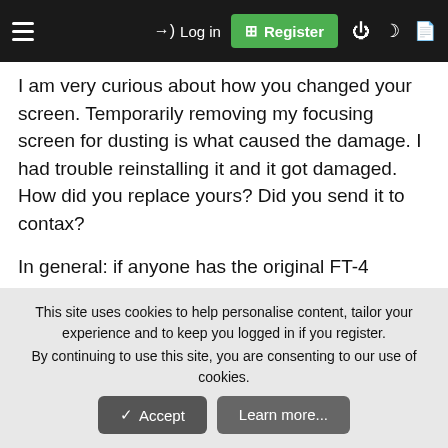Log in | Register
I am very curious about how you changed your screen. Temporarily removing my focusing screen for dusting is what caused the damage. I had trouble reinstalling it and it got damaged. How did you replace yours? Did you send it to contax?
In general: if anyone has the original FT-4 screen for the contax 159 MM, I am willing to buy it. I live in the Los Angeles area. Also if anyone knows where I can get one new or from old stock, please let me know.
This site uses cookies to help personalise content, tailor your experience and to keep you logged in if you register. By continuing to use this site, you are consenting to our use of cookies.